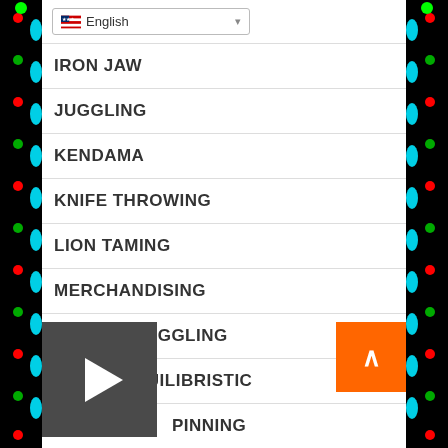English (language selector)
IRON JAW
JUGGLING
KENDAMA
KNIFE THROWING
LION TAMING
MERCHANDISING
METEOR JUGGLING
PERCH EQUILIBRISTIC
SPINNING
STER
RISLEY
[Figure (other): Video play button overlay (dark gray square with white play triangle)]
[Figure (other): Back to top button (orange square with white chevron up arrow)]